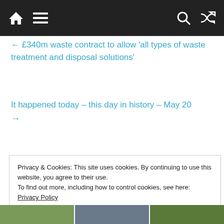Navigation bar with home, menu, search, and shuffle icons
← £340m waste contract to allow ‘all types of waste treatment and disposal solutions’
It happened today – this day in history – May 20 →
Privacy & Cookies: This site uses cookies. By continuing to use this website, you agree to their use.
To find out more, including how to control cookies, see here: Privacy Policy
[Figure (photo): Bottom image strip with three thumbnail photos]